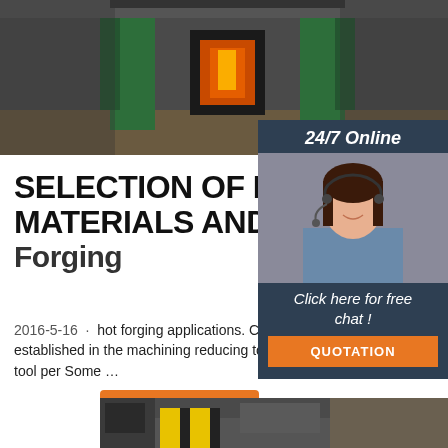[Figure (photo): Industrial forging machine with green metal frames and glowing furnace in a factory]
SELECTION OF DIE MATERIALS AND SURFACE Forging
2016-5-16 · hot forging applications. Ceramic coatings are well established in the machining reducing tool wear and enhancing the tool per Some …
[Figure (photo): Customer service representative woman wearing headset with 24/7 Online label and Click here for free chat / QUOTATION button]
Get Price
[Figure (logo): TOP logo with orange dots arranged as triangle above the word TOP in orange]
[Figure (photo): Industrial workshop floor with machinery and yellow barrier]